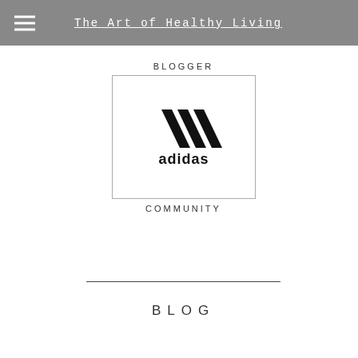The Art of Healthy Living
[Figure (logo): Adidas Blogger Community logo badge — text 'BLOGGER' above a rectangular framed box containing the adidas three-stripes logo and 'adidas' wordmark, with 'COMMUNITY' text below]
BLOG